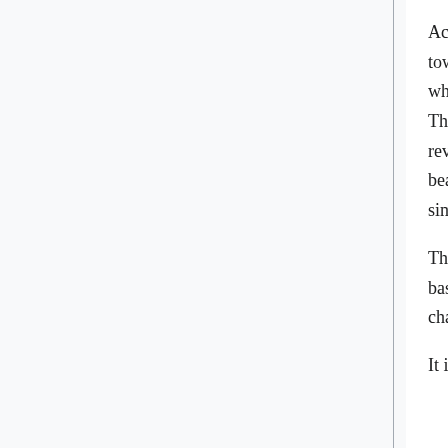According to some legends, Lugia once perched here. However, when the tower burned down, Lugia fled to the Whirl Islands to live, while Ho-Oh, which lived in the Bell Tower, flew away in search of a pure-hearted Trainer. Three unnamed Pokémon perished in the fire; Ho-Oh returned briefly to revive them after the fire had been put out. These Pokémon, the legendary beasts Raikou, Entei, and Suicune, were destined to speed across the land since their revival.
The player encounters Raikou, Entei, and Suicune for the first time in the basement of the Burned Tower, who then flee. This is also where Rival will challenge the player once again, with the second form of the starter he stole.
It is said that, before it burned down, the